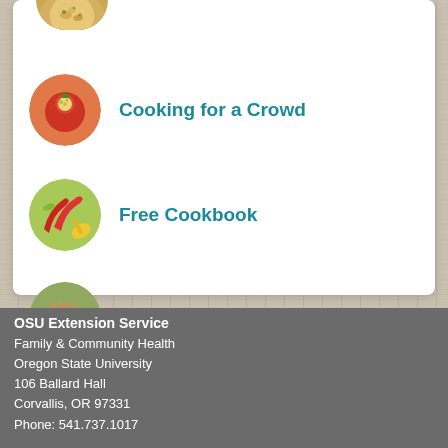[Figure (illustration): Circular image of stuffed tomatoes with rice/grain filling, shown partially at top of page]
Cooking for a Crowd
[Figure (illustration): Circular image of red chili peppers and a yellow spoon with various ingredients]
Free Cookbook
[Figure (illustration): Circular image of hands chopping green cabbage or lettuce]
Food Safety
OSU Extension Service
Family & Community Health
Oregon State University
106 Ballard Hall
Corvallis, OR 97331
Phone: 541.737.1017